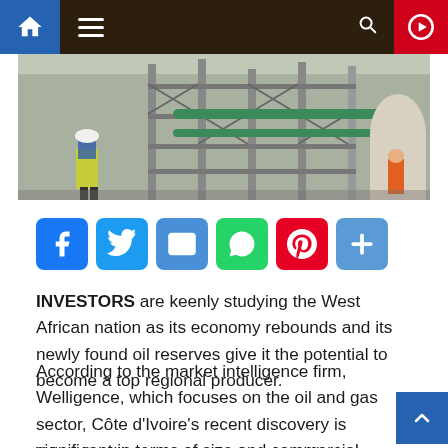Navigation bar with home, menu, search, and video play button
[Figure (photo): A worker in a yellow high-visibility vest and white hard hat walks past industrial scaffolding and piping at a construction or refinery site]
[Figure (infographic): Social share buttons: Facebook (blue), Twitter (blue), Email (blue), WhatsApp (green), Pinterest (red), More/Plus (blue)]
INVESTORS are keenly studying the West African nation as its economy rebounds and its newly found oil reserves give it the potential to become a top regional producer.
According to the market intelligence firm, Welligence, which focuses on the oil and gas sector, Côte d'Ivoire's recent discovery is significant in terms of size and commercial opportunities.
When intelligence reports that the Italian energy major